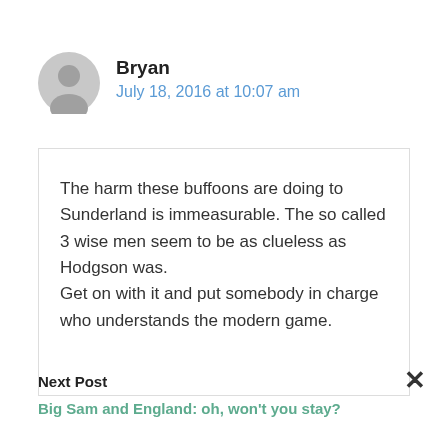Bryan
July 18, 2016 at 10:07 am
The harm these buffoons are doing to Sunderland is immeasurable. The so called 3 wise men seem to be as clueless as Hodgson was.
Get on with it and put somebody in charge who understands the modern game.
Next Post
Big Sam and England: oh, won't you stay?